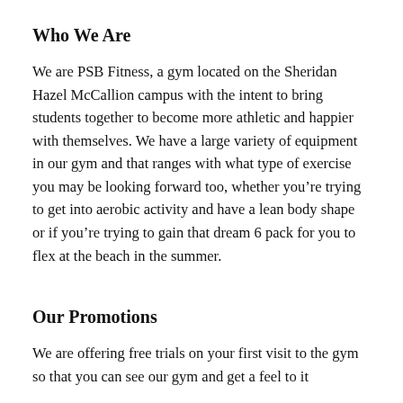Who We Are
We are PSB Fitness, a gym located on the Sheridan Hazel McCallion campus with the intent to bring students together to become more athletic and happier with themselves. We have a large variety of equipment in our gym and that ranges with what type of exercise you may be looking forward too, whether you’re trying to get into aerobic activity and have a lean body shape or if you’re trying to gain that dream 6 pack for you to flex at the beach in the summer.
Our Promotions
We are offering free trials on your first visit to the gym so that you can see our gym and get a feel to it